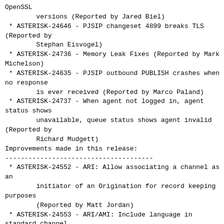OpenSSL
        versions (Reported by Jared Biel)
* ASTERISK-24646 - PJSIP changeset 4899 breaks TLS (Reported by
        Stephan Eisvogel)
* ASTERISK-24736 - Memory Leak Fixes (Reported by Mark Michelson)
* ASTERISK-24635 - PJSIP outbound PUBLISH crashes when no response
        is ever received (Reported by Marco Paland)
* ASTERISK-24737 - When agent not logged in, agent status shows
        unavailable, queue status shows agent invalid (Reported by
        Richard Mudgett)
Improvements made in this release:
--------------------------------------
* ASTERISK-24552 - ARI: Allow associating a channel as an
        initiator of an Origination for record keeping purposes
        (Reported by Matt Jordan)
* ASTERISK-24553 - ARI/AMI: Include language in standard channel
        snapshot output (Reported by Matt Jordan)
* ASTERISK-24643 - res_pjsip: Add user=phone option (Reported by
        Matt Jordan)
* ASTERISK-24644 - res_pjsip_keepalive: Add keepalive